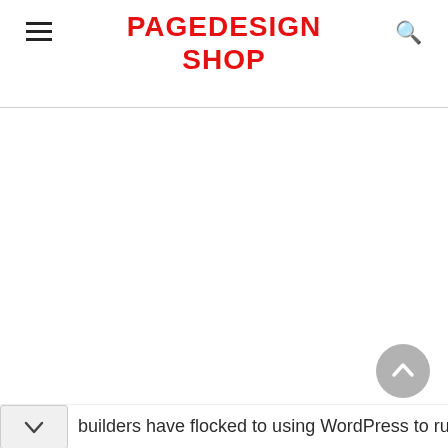PAGEDESIGN SHOP
[Figure (other): Large blank white content area below header, main page body with no visible content]
[Figure (other): Scroll-to-top circular button with upward chevron arrow, grey background]
builders have flocked to using WordPress to run a